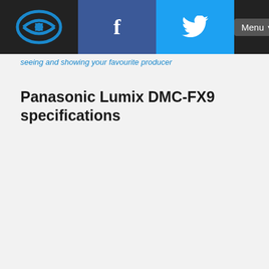Logo, Facebook, Twitter, Menu navigation bar
seeing and showing your favorite producer
Panasonic Lumix DMC-FX9 specifications